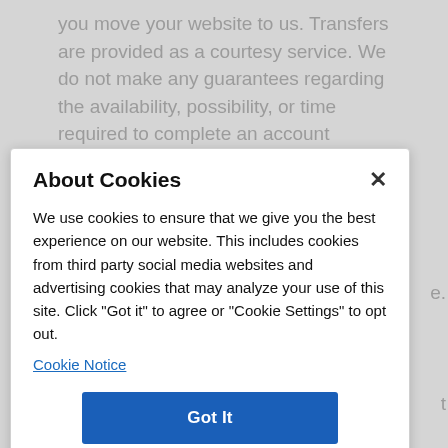you move your website to us. Transfers are provided as a courtesy service. We do not make any guarantees regarding the availability, possibility, or time required to complete an account transfer. Each hosting company is configured differently,
About Cookies
We use cookies to ensure that we give you the best experience on our website. This includes cookies from third party social media websites and advertising cookies that may analyze your use of this site. Click "Got it" to agree or "Cookie Settings" to opt out.
Cookie Notice
Got It
Cookies Settings